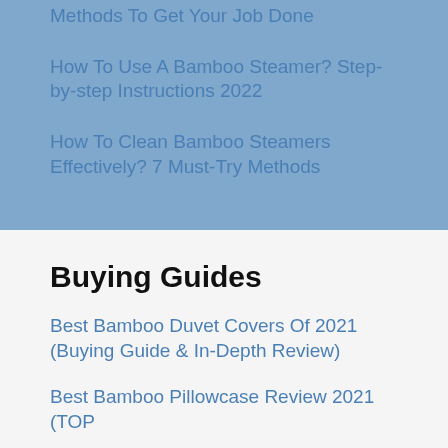Methods To Get Your Job Done
How To Use A Bamboo Steamer? Step-by-step Instructions 2022
How To Clean Bamboo Steamers Effectively? 7 Must-Try Methods
Buying Guides
Best Bamboo Duvet Covers Of 2021 (Buying Guide & In-Depth Review)
Best Bamboo Pillowcase Review 2021 (TOP